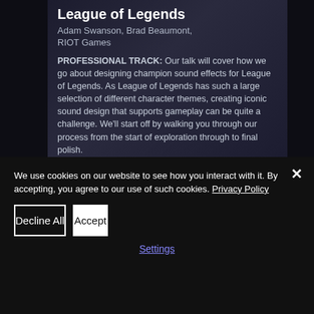League of Legends
Adam Swanson, Brad Beaumont, RIOT Games
PROFESSIONAL TRACK: Our talk will cover how we go about designing champion sound effects for League of Legends. As League of Legends has such a large selection of different character themes, creating iconic sound design that supports gameplay can be quite a challenge. We'll start off by walking you through our process from the start of exploration through to final polish.
We use cookies on our website to see how you interact with it. By accepting, you agree to our use of such cookies. Privacy Policy
Decline All
Accept
Settings